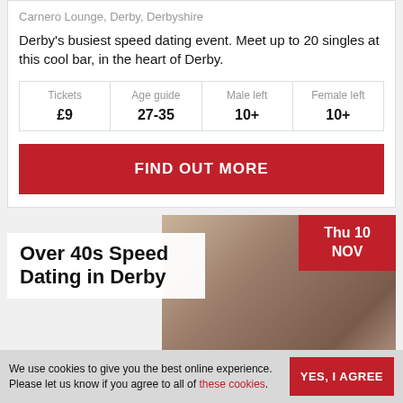Carnero Lounge, Derby, Derbyshire
Derby's busiest speed dating event. Meet up to 20 singles at this cool bar, in the heart of Derby.
| Tickets | Age guide | Male left | Female left |
| --- | --- | --- | --- |
| £9 | 27-35 | 10+ | 10+ |
FIND OUT MORE
Over 40s Speed Dating in Derby
Thu 10 NOV
We use cookies to give you the best online experience. Please let us know if you agree to all of these cookies.
YES, I AGREE